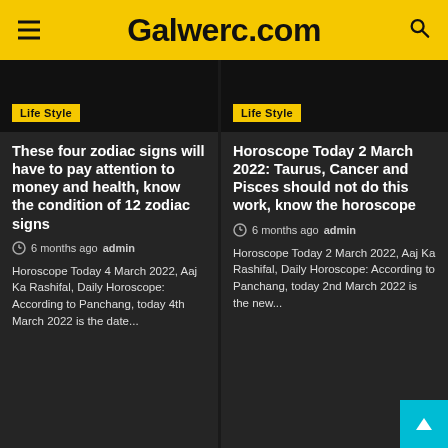Galwerc.com
[Figure (screenshot): Black image placeholder for article thumbnail with Life Style badge]
Life Style
These four zodiac signs will have to pay attention to money and health, know the condition of 12 zodiac signs
6 months ago  admin
Horoscope Today 4 March 2022, Aaj Ka Rashifal, Daily Horoscope: According to Panchang, today 4th March 2022 is the date...
[Figure (screenshot): Black image placeholder for article thumbnail with Life Style badge]
Life Style
Horoscope Today 2 March 2022: Taurus, Cancer and Pisces should not do this work, know the horoscope
6 months ago  admin
Horoscope Today 2 March 2022, Aaj Ka Rashifal, Daily Horoscope: According to Panchang, today 2nd March 2022 is the new...